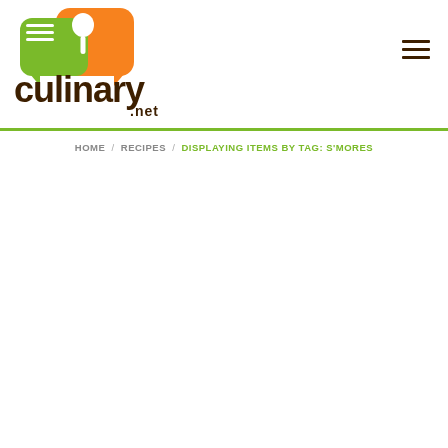[Figure (logo): Culinary.net logo with green fork speech bubble and orange spoon speech bubble above stylized bold brown text 'culinary' with '.net' below]
HOME / RECIPES / DISPLAYING ITEMS BY TAG: S'MORES